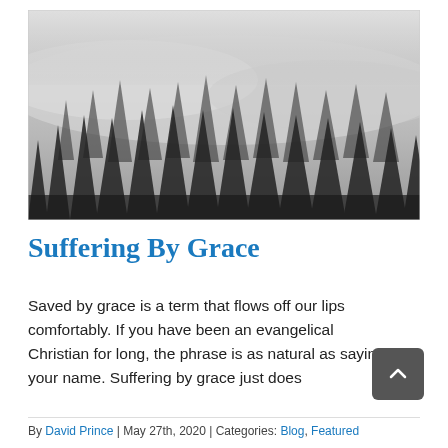[Figure (photo): Black and white photograph of a misty forest with tall conifer trees and fog drifting through the treetops]
Suffering By Grace
Saved by grace is a term that flows off our lips comfortably. If you have been an evangelical Christian for long, the phrase is as natural as saying your name. Suffering by grace just does
By David Prince | May 27th, 2020 | Categories: Blog, Featured